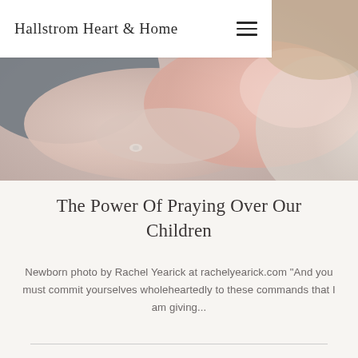Hallstrom Heart & Home
[Figure (photo): Close-up photo of hands resting together, one adult hand with a ring on a newborn baby wrapped in pink fabric, with another person in white lace in the background]
The Power Of Praying Over Our Children
Newborn photo by Rachel Yearick at rachelyearick.com "And you must commit yourselves wholeheartedly to these commands that I am giving...